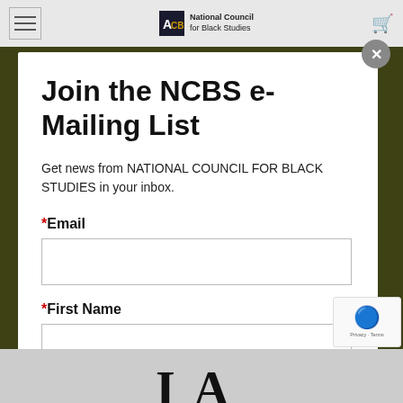[Figure (screenshot): Website navigation bar with hamburger menu, National Council for Black Studies logo, and shopping cart icon on gray background]
Join the NCBS e-Mailing List
Get news from NATIONAL COUNCIL FOR BLACK STUDIES in your inbox.
*Email
*First Name
[Figure (screenshot): Bottom portion showing partial 'IA' text in large serif font, representing background content beneath modal]